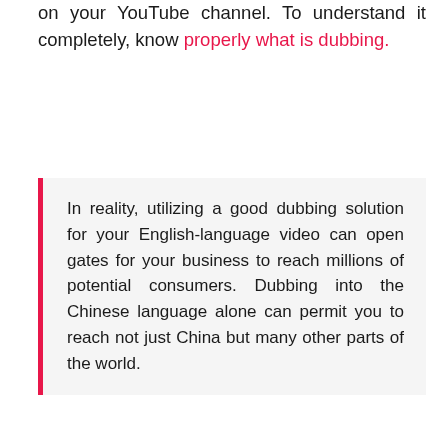on your YouTube channel. To understand it completely, know properly what is dubbing.
In reality, utilizing a good dubbing solution for your English-language video can open gates for your business to reach millions of potential consumers. Dubbing into the Chinese language alone can permit you to reach not just China but many other parts of the world.